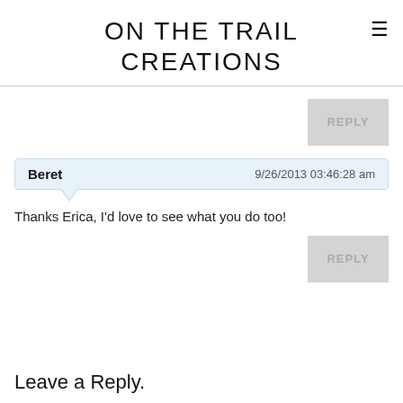ON THE TRAIL CREATIONS
REPLY
Beret  9/26/2013 03:46:28 am
Thanks Erica, I'd love to see what you do too!
REPLY
Leave a Reply.